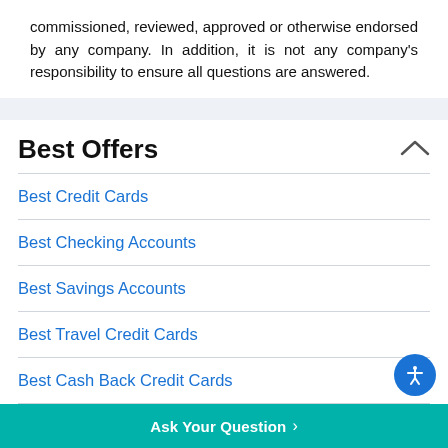commissioned, reviewed, approved or otherwise endorsed by any company. In addition, it is not any company's responsibility to ensure all questions are answered.
Best Offers
Best Credit Cards
Best Checking Accounts
Best Savings Accounts
Best Travel Credit Cards
Best Cash Back Credit Cards
Best Business Credit Cards
Best Airline Credit Card
Best Balance Transfer Credit Cards